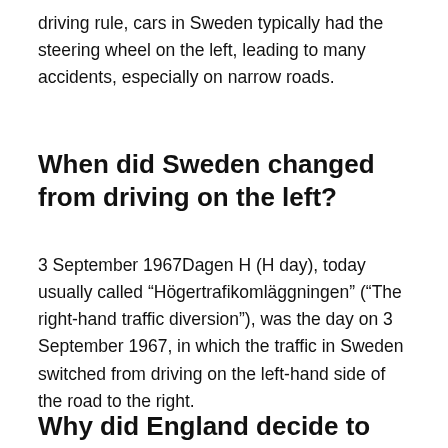driving rule, cars in Sweden typically had the steering wheel on the left, leading to many accidents, especially on narrow roads.
When did Sweden changed from driving on the left?
3 September 1967Dagen H (H day), today usually called “Högertrafikomläggningen” (“The right-hand traffic diversion”), was the day on 3 September 1967, in which the traffic in Sweden switched from driving on the left-hand side of the road to the right.
Why did England decide to drive